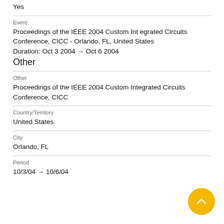Yes
Event
Proceedings of the IEEE 2004 Custom Integrated Circuits Conference, CICC - Orlando, FL, United States
Duration: Oct 3 2004 → Oct 6 2004
Other
Other
Proceedings of the IEEE 2004 Custom Integrated Circuits Conference, CICC
Country/Territory
United States
City
Orlando, FL
Period
10/3/04 → 10/6/04